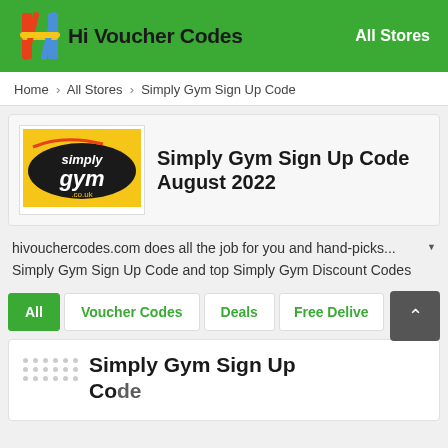Hi Voucher Codes — All Stores
Home > All Stores > Simply Gym Sign Up Code
[Figure (logo): Simply Gym logo — yellow oval with 'simply gym .co.uk' text on dark background]
Simply Gym Sign Up Code August 2022
hivouchercodes.com does all the job for you and hand-picks... Simply Gym Sign Up Code and top Simply Gym Discount Codes
All | Voucher Codes | Deals | Free Delivery
Simply Gym Sign Up Code